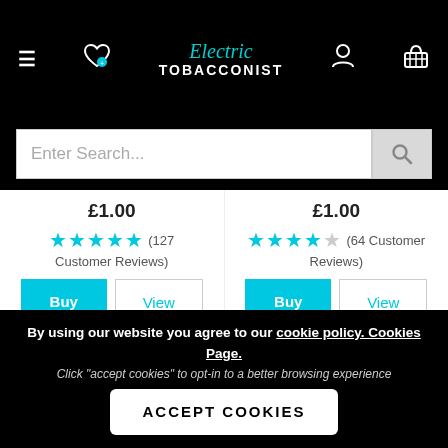Electric Tobacconist — navigation header with hamburger menu, wishlist, logo, account, and cart icons
Enter Search...
£1.00 ★★★★★ (127 Customer Reviews)
£1.00 ★★★★☆ (64 Customer Reviews)
Buy | View
Buy | View
By using our website you agree to our cookie policy. Cookies Page. Click "accept cookies" to opt-in to a better browsing experience
ACCEPT COOKIES